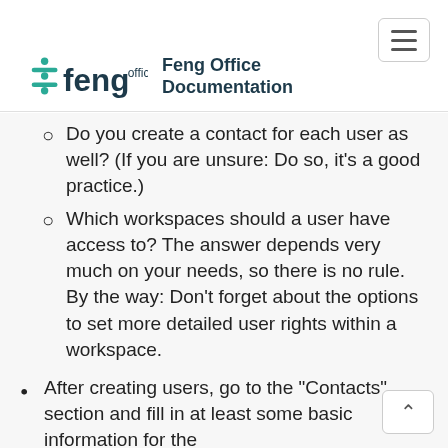Feng Office Documentation
Do you create a contact for each user as well? (If you are unsure: Do so, it's a good practice.)
Which workspaces should a user have access to? The answer depends very much on your needs, so there is no rule. By the way: Don't forget about the options to set more detailed user rights within a workspace.
After creating users, go to the "Contacts" section and fill in at least some basic information for the